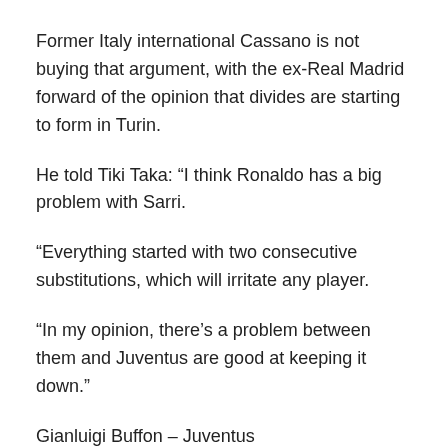Former Italy international Cassano is not buying that argument, with the ex-Real Madrid forward of the opinion that divides are starting to form in Turin.
He told Tiki Taka: “I think Ronaldo has a big problem with Sarri.
“Everything started with two consecutive substitutions, which will irritate any player.
“In my opinion, there’s a problem between them and Juventus are good at keeping it down.”
Gianluigi Buffon – Juventus